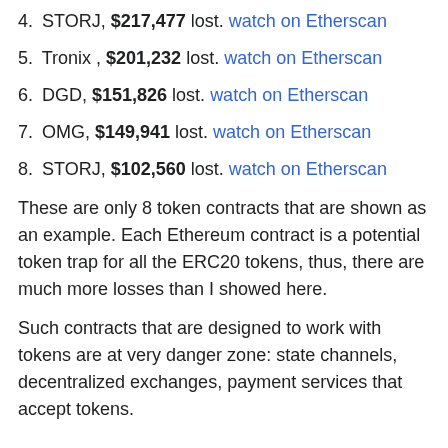4. STORJ, $217,477 lost. watch on Etherscan
5. Tronix , $201,232 lost. watch on Etherscan
6. DGD, $151,826 lost. watch on Etherscan
7. OMG, $149,941 lost. watch on Etherscan
8. STORJ, $102,560 lost. watch on Etherscan
These are only 8 token contracts that are shown as an example. Each Ethereum contract is a potential token trap for all the ERC20 tokens, thus, there are much more losses than I showed here.
Such contracts that are designed to work with tokens are at very danger zone: state channels, decentralized exchanges, payment services that accept tokens.